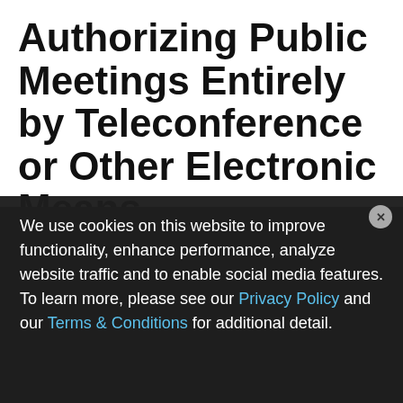Authorizing Public Meetings Entirely by Teleconference or Other Electronic Means
By Alfred Smith II on 03-19-2020
POSTED IN COVID-19, PUBLIC AGENCY REGULATION, WATER UTILITY REGULATION
On March 17, 2020, Governor Newsom issued Executive Order N-29-20 (amending Executive Order N-25-20 in part), which allows local or state legislative bodies to hold meetings via
We use cookies on this website to improve functionality, enhance performance, analyze website traffic and to enable social media features. To learn more, please see our Privacy Policy and our Terms & Conditions for additional detail.